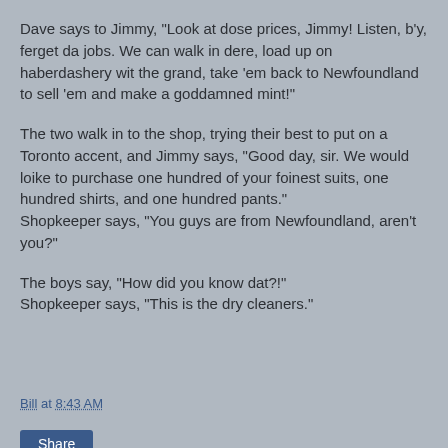Dave says to Jimmy, "Look at dose prices, Jimmy! Listen, b'y, ferget da jobs. We can walk in dere, load up on haberdashery wit the grand, take 'em back to Newfoundland to sell 'em and make a goddamned mint!"
The two walk in to the shop, trying their best to put on a Toronto accent, and Jimmy says, "Good day, sir. We would loike to purchase one hundred of your foinest suits, one hundred shirts, and one hundred pants."
Shopkeeper says, "You guys are from Newfoundland, aren't you?"
The boys say, "How did you know dat?!"
Shopkeeper says, "This is the dry cleaners."
Bill at 8:43 AM